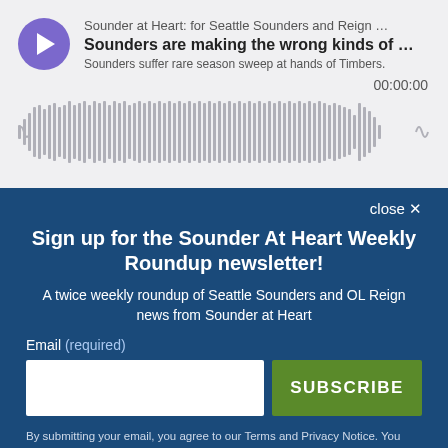[Figure (screenshot): Podcast player widget with purple play button, showing episode 'Sounders are making the wrong kinds of...' from 'Sounder at Heart: for Seattle Sounders and Reign...' with subtitle 'Sounders suffer rare season sweep at hands of Timbers.' Timer shows 00:00:00 and audio waveform visualization below.]
close ×
Sign up for the Sounder At Heart Weekly Roundup newsletter!
A twice weekly roundup of Seattle Sounders and OL Reign news from Sounder at Heart
Email (required)
SUBSCRIBE
By submitting your email, you agree to our Terms and Privacy Notice. You can opt out at any time. This site is protected by reCAPTCHA and the Google Privacy Policy and Terms of Service apply.